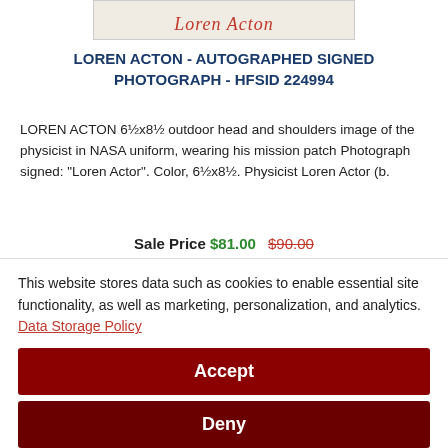[Figure (photo): Partial photograph of Loren Acton showing a signature in red ink at the bottom, with a light beige/cream background.]
LOREN ACTON - AUTOGRAPHED SIGNED PHOTOGRAPH - HFSID 224994
LOREN ACTON 6½x8½ outdoor head and shoulders image of the physicist in NASA uniform, wearing his mission patch Photograph signed: "Loren Actor". Color, 6½x8½. Physicist Loren Actor (b.
Sale Price $81.00  $90.00
This website stores data such as cookies to enable essential site functionality, as well as marketing, personalization, and analytics. Data Storage Policy
Accept
Deny